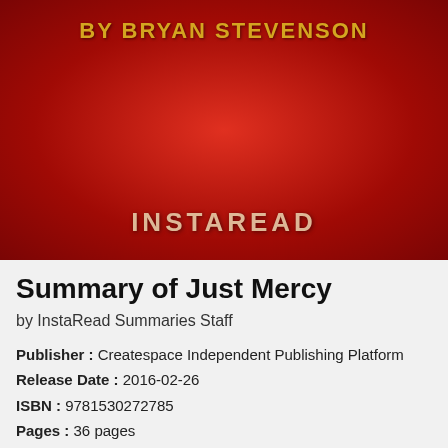[Figure (photo): Book cover for 'Just Mercy' summary by InstaRead, showing a red textured background with 'BY BRYAN STEVENSON' in gold letters at top and 'INSTAREAD' in white letters in the lower center.]
Summary of Just Mercy
by InstaRead Summaries Staff
Publisher : Createspace Independent Publishing Platform
Release Date : 2016-02-26
ISBN : 9781530272785
Pages : 36 pages
Rating : 4.2/5 (727 users)